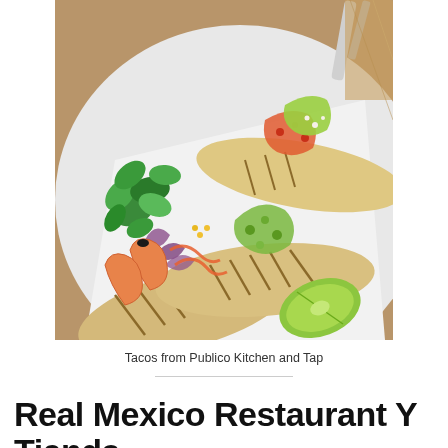[Figure (photo): Overhead photo of three tacos on white paper on a plate, garnished with shrimp, cilantro, purple cabbage, salsa verde, pico de gallo, and a lime wedge. Wooden surface visible in background.]
Tacos from Publico Kitchen and Tap
Real Mexico Restaurant Y Tienda